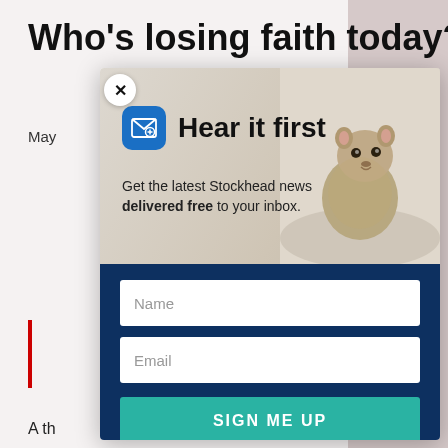Who's losing faith today?
May
[Figure (screenshot): Newsletter signup modal popup. Top section shows email icon, 'Hear it first' heading, 'Get the latest Stockhead news delivered free to your inbox.' text, and a groundhog animal photo background. Bottom dark blue section contains Name input field, Email input field, and SIGN ME UP button.]
A th
s